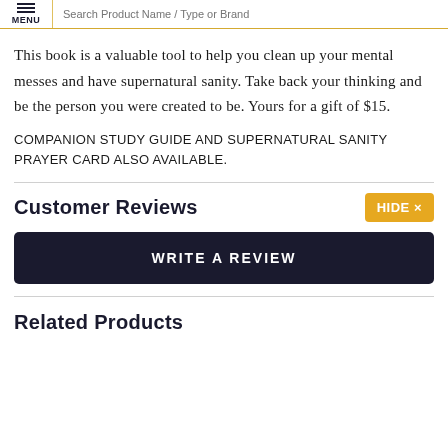MENU | Search Product Name / Type or Brand
This book is a valuable tool to help you clean up your mental messes and have supernatural sanity. Take back your thinking and be the person you were created to be. Yours for a gift of $15.
COMPANION STUDY GUIDE AND SUPERNATURAL SANITY PRAYER CARD ALSO AVAILABLE.
Customer Reviews
WRITE A REVIEW
Related Products